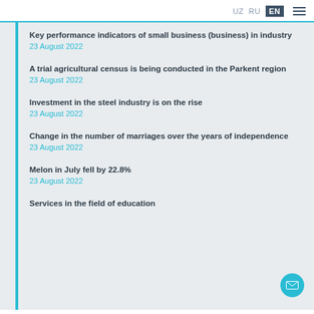UZ  RU  EN
Key performance indicators of small business (business) in industry
23 August 2022
A trial agricultural census is being conducted in the Parkent region
23 August 2022
Investment in the steel industry is on the rise
23 August 2022
Change in the number of marriages over the years of independence
23 August 2022
Melon in July fell by 22.8%
23 August 2022
Services in the field of education